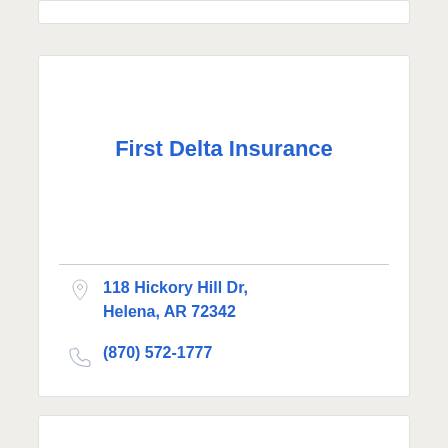First Delta Insurance
118 Hickory Hill Dr, Helena, AR 72342
(870) 572-1777